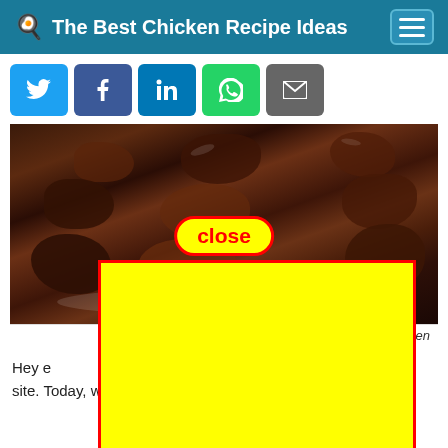The Best Chicken Recipe Ideas
[Figure (screenshot): Social share buttons: Twitter (blue), Facebook (dark blue), LinkedIn (blue), WhatsApp (green), Email (grey)]
[Figure (photo): Dark glazed chicken pieces on a white plate, with a yellow advertisement overlay and a red-bordered 'close' button]
icken
Hey e                                                          e site. Today, we're going to make a distinctive dish